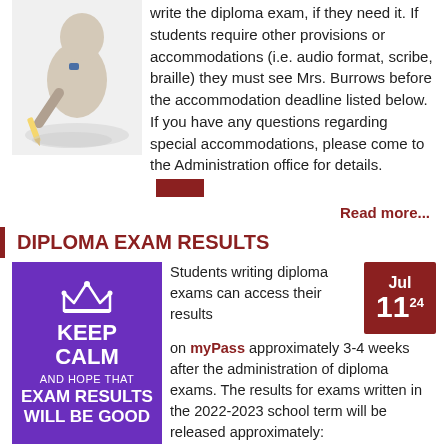[Figure (illustration): A cartoon figure of a person writing/studying with a pencil]
write the diploma exam, if they need it. If students require other provisions or accommodations (i.e. audio format, scribe, braille) they must see Mrs. Burrows before the accommodation deadline listed below. If you have any questions regarding special accommodations, please come to the Administration office for details.
Read more...
DIPLOMA EXAM RESULTS
[Figure (illustration): Keep Calm and Hope That Exam Results Will Be Good purple poster with crown]
Students writing diploma exams can access their results on myPass approximately 3-4 weeks after the administration of diploma exams. The results for exams written in the 2022-2023 school term will be released approximately:
Jul 11 24
November - November 25, 2022